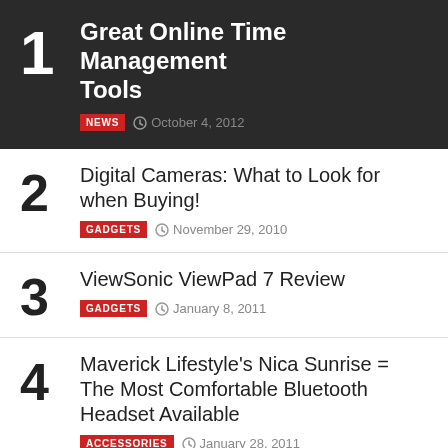1 Great Online Time Management Tools — NEWS — October 4, 2012
2 Digital Cameras: What to Look for when Buying! — GADGETS — November 29, 2010
3 ViewSonic ViewPad 7 Review — GADGETS — January 8, 2011
4 Maverick Lifestyle's Nica Sunrise = The Most Comfortable Bluetooth Headset Available — ACCESSORIES — January 28, 2011
5 Seven Biggest Mistakes People Do On Facebook